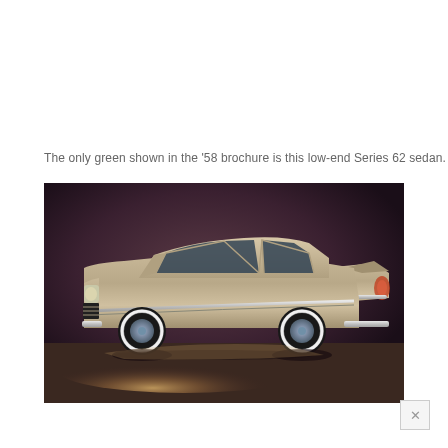The only green shown in the '58 brochure is this low-end Series 62 sedan.
[Figure (photo): Side profile photograph of a 1958 Cadillac Series 62 sedan in a champagne/silver color, shown against a dark purple-brown studio background with dramatic floor lighting. The car features prominent tail fins, whitewall tires, and classic late-1950s styling.]